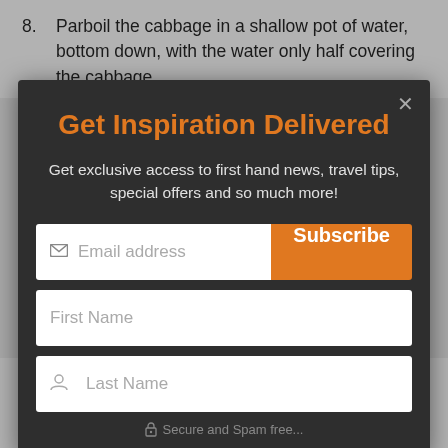8. Parboil the cabbage in a shallow pot of water, bottom down, with the water only half covering the cabbage.
Get Inspiration Delivered
Get exclusive access to first hand news, travel tips, special offers and so much more!
[Figure (screenshot): Email subscription form with Email address field and Subscribe button, First Name field, Last Name field, and Secure and Spam free notice]
14. Proceed to roll the cabbage rolls. Place a heaped spoon of filling onto a leaf and roll tightly. Place the rolls as you make them into